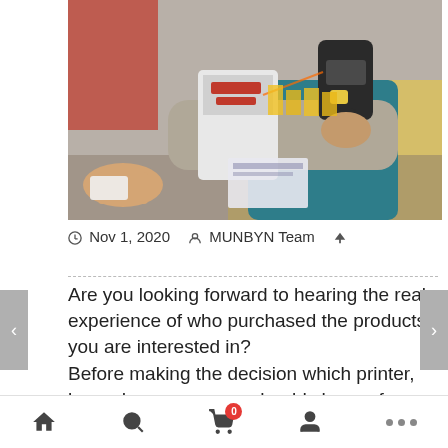[Figure (photo): A retail store cashier scanning a barcode on a product box using a handheld barcode scanner at a checkout counter.]
Nov 1, 2020   MUNBYN Team
Are you looking forward to hearing the real experience of who purchased the products you are interested in?
Before making the decision which printer, barcode scanner you should choose for your business, you may need lots of time and work to
Home  Search  Cart (0)  Account  More